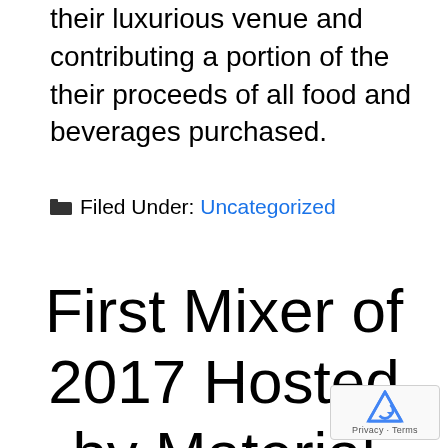their luxurious venue and contributing a portion of the their proceeds of all food and beverages purchased.
Filed Under: Uncategorized
First Mixer of 2017 Hosted by Material and Contract